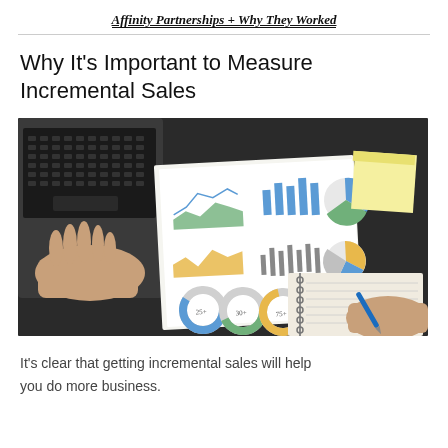Affinity Partnerships + Why They Worked
Why It's Important to Measure Incremental Sales
[Figure (photo): Overhead view of a desk with a laptop, a printed analytics report showing charts and graphs, a yellow sticky note, and a hand writing in a spiral notebook with a blue pen.]
It's clear that getting incremental sales will help you do more business.